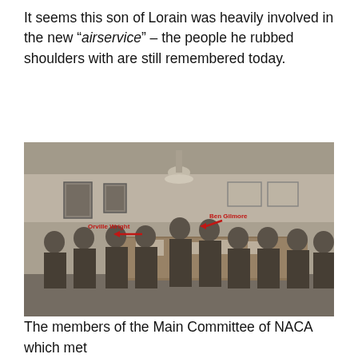It seems this son of Lorain was heavily involved in the new "airservice" – the people he rubbed shoulders with are still remembered today.
[Figure (photo): Black and white historical photograph of men seated around a large conference table in a formal room. Red arrows and labels identify two individuals: 'Orville Wright' on the left side and 'Ben Gilmore' near the center-right. The men are dressed in dark suits typical of early 20th century.]
The members of the Main Committee of NACA which met